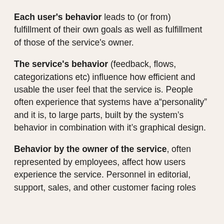Each user's behavior leads to (or from) fulfillment of their own goals as well as fulfillment of those of the service's owner.
The service's behavior (feedback, flows, categorizations etc) influence how efficient and usable the user feel that the service is. People often experience that systems have a"personality" and it is, to large parts, built by the system's behavior in combination with it's graphical design.
Behavior by the owner of the service, often represented by employees, affect how users experience the service. Personnel in editorial, support, sales, and other customer facing roles